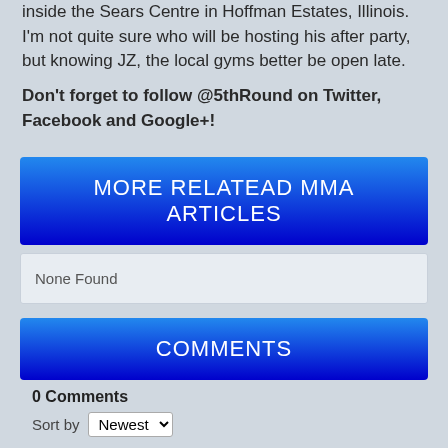inside the Sears Centre in Hoffman Estates, Illinois. I'm not quite sure who will be hosting his after party, but knowing JZ, the local gyms better be open late.
Don't forget to follow @5thRound on Twitter, Facebook and Google+!
MORE RELATEAD MMA ARTICLES
None Found
COMMENTS
0 Comments
Sort by Newest
Add a comment